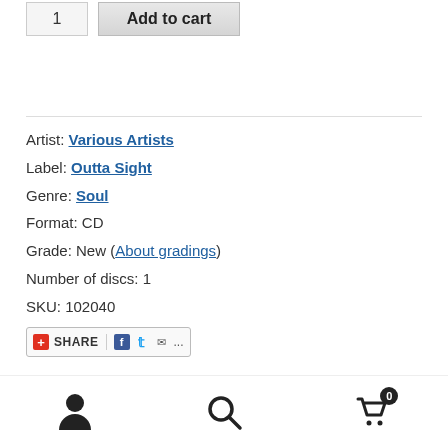[Figure (screenshot): Quantity input box showing '1' and 'Add to cart' button]
Artist: Various Artists
Label: Outta Sight
Genre: Soul
Format: CD
Grade: New (About gradings)
Number of discs: 1
SKU: 102040
[Figure (other): Share widget with Facebook, Twitter, email and more icons]
SOUL ON THE REAL SIDE #14 OUTTA SIGHT presents Soul On The Real Side #14 The architects of soul are back with a stunning new 20-track Spring 2022 collection and
[Figure (other): Bottom navigation bar with user, search, and cart icons]